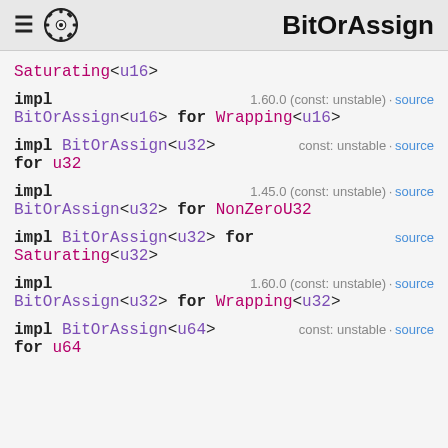BitOrAssign
Saturating<u16>
impl  1.60.0 (const: unstable) · source
BitOrAssign<u16> for Wrapping<u16>
impl BitOrAssign<u32>  const: unstable · source
for u32
impl  1.45.0 (const: unstable) · source
BitOrAssign<u32> for NonZeroU32
impl BitOrAssign<u32> for  source
Saturating<u32>
impl  1.60.0 (const: unstable) · source
BitOrAssign<u32> for Wrapping<u32>
impl BitOrAssign<u64>  const: unstable · source
for u64